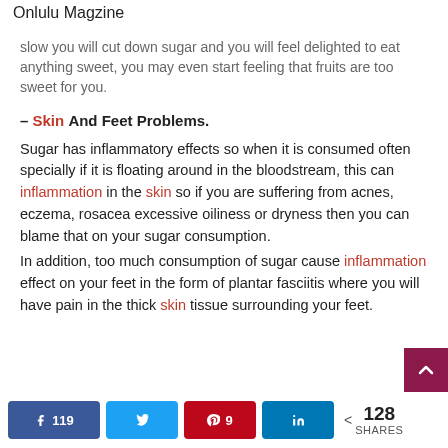Onlulu Magzine
slow you will cut down sugar and you will feel delighted to eat anything sweet, you may even start feeling that fruits are too sweet for you.
– Skin And Feet Problems.
Sugar has inflammatory effects so when it is consumed often specially if it is floating around in the bloodstream, this can inflammation in the skin so if you are suffering from acnes, eczema, rosacea excessive oiliness or dryness then you can blame that on your sugar consumption.
In addition, too much consumption of sugar cause inflammation effect on your feet in the form of plantar fasciitis where you will have pain in the thick skin tissue surrounding your feet.
119  [Facebook share] [Twitter share] 9 [Pinterest share] [LinkedIn share] < 128 SHARES